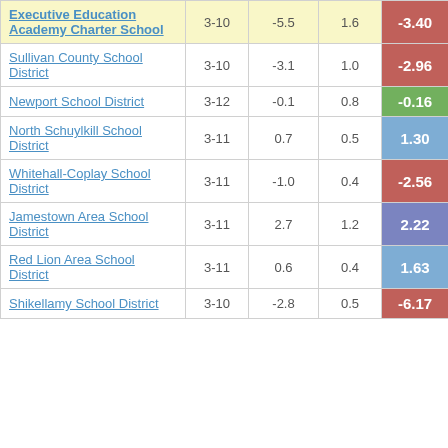| School/District | Grades | Col3 | Col4 | Score |
| --- | --- | --- | --- | --- |
| Executive Education Academy Charter School | 3-10 | -5.5 | 1.6 | -3.40 |
| Sullivan County School District | 3-10 | -3.1 | 1.0 | -2.96 |
| Newport School District | 3-12 | -0.1 | 0.8 | -0.16 |
| North Schuylkill School District | 3-11 | 0.7 | 0.5 | 1.30 |
| Whitehall-Coplay School District | 3-11 | -1.0 | 0.4 | -2.56 |
| Jamestown Area School District | 3-11 | 2.7 | 1.2 | 2.22 |
| Red Lion Area School District | 3-11 | 0.6 | 0.4 | 1.63 |
| Shikellamy School District | 3-10 | -2.8 | 0.5 | -6.17 |